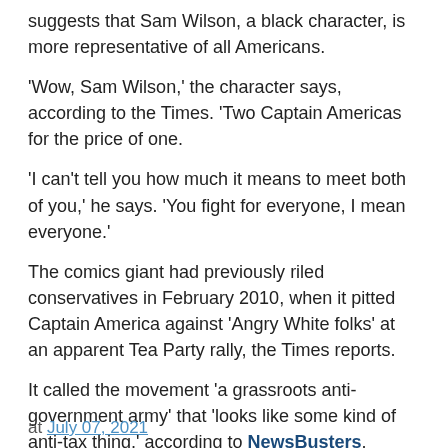suggests that Sam Wilson, a black character, is more representative of all Americans.
'Wow, Sam Wilson,' the character says, according to the Times. 'Two Captain Americas for the price of one.
'I can't tell you how much it means to meet both of you,' he says. 'You fight for everyone, I mean everyone.'
The comics giant had previously riled conservatives in February 2010, when it pitted Captain America against 'Angry White folks' at an apparent Tea Party rally, the Times reports.
It called the movement 'a grassroots anti-government army' that 'looks like some kind of anti-tax thing,' according to NewsBusters.
A lewd message related to Tea Party activists was reportedly removed from future printings of the book, and was blamed on 'someone in lettering and production.'
at July 07, 2021